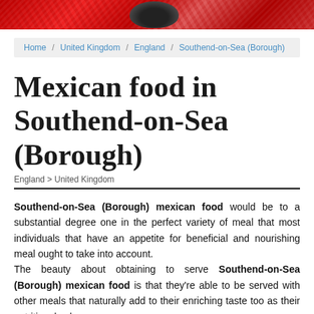[Figure (photo): Red decorative banner/header image with patterned textile and dark bowl shape visible]
Home / United Kingdom / England / Southend-on-Sea (Borough)
Mexican food in Southend-on-Sea (Borough)
England > United Kingdom
Southend-on-Sea (Borough) mexican food would be to a substantial degree one in the perfect variety of meal that most individuals that have an appetite for beneficial and nourishing meal ought to take into account.
The beauty about obtaining to serve Southend-on-Sea (Borough) mexican food is that they're able to be served with other meals that naturally add to their enriching taste too as their nutritional value.